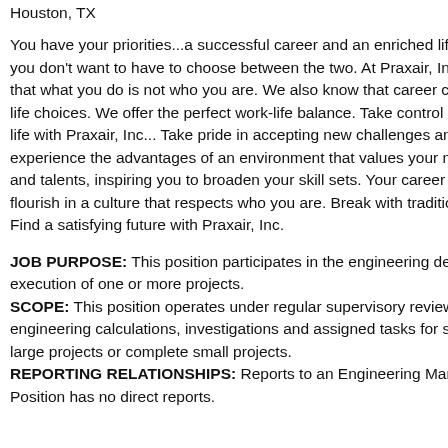Houston, TX
You have your priorities...a successful career and an enriched life. And you don't want to have to choose between the two. At Praxair, Inc. we know that what you do is not who you are. We also know that career choices are life choices. We offer the perfect work-life balance. Take control of your life with Praxair, Inc... Take pride in accepting new challenges and experience the advantages of an environment that values your motivation and talents, inspiring you to broaden your skill sets. Your career will flourish in a culture that respects who you are. Break with tradition. Find a satisfying future with Praxair, Inc.
JOB PURPOSE: This position participates in the engineering design and/or execution of one or more projects. SCOPE: This position operates under regular supervisory review. Performs engineering calculations, investigations and assigned tasks for subsets of large projects or complete small projects. REPORTING RELATIONSHIPS: Reports to an Engineering Manager or Director. Position has no direct reports.
Log In
Get P
Searc
Subs
Archives
August 20
July 2022
June 2022
May 2022
April 2022
March 202
February
January 2
December
November
October 2
September
August 20
July 2021
June 2021
May 2021
April 2021
March 202
February
January 2
December